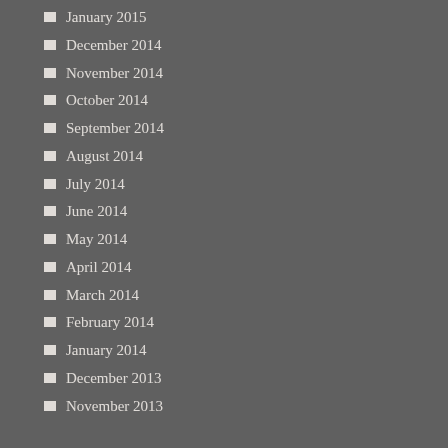January 2015
December 2014
November 2014
October 2014
September 2014
August 2014
July 2014
June 2014
May 2014
April 2014
March 2014
February 2014
January 2014
December 2013
November 2013
Categories
"housework"
Albany
beauty
encounters
events
family
family (blood)